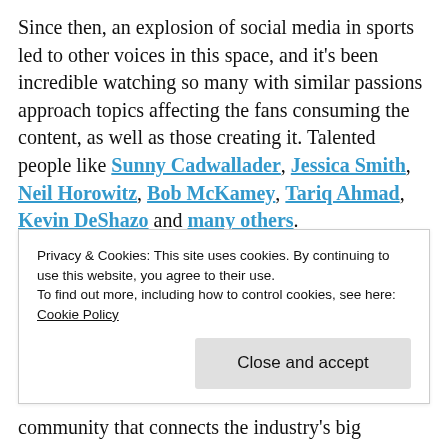Since then, an explosion of social media in sports led to other voices in this space, and it's been incredible watching so many with similar passions approach topics affecting the fans consuming the content, as well as those creating it. Talented people like Sunny Cadwallader, Jessica Smith, Neil Horowitz, Bob McKamey, Tariq Ahmad, Kevin DeShazo and many others.
While it's a seemingly small pond, it can feel like a vast ocean for those trying to make a splash — and a career — in it today. Adam
Privacy & Cookies: This site uses cookies. By continuing to use this website, you agree to their use.
To find out more, including how to control cookies, see here: Cookie Policy
Close and accept
community that connects the industry's big